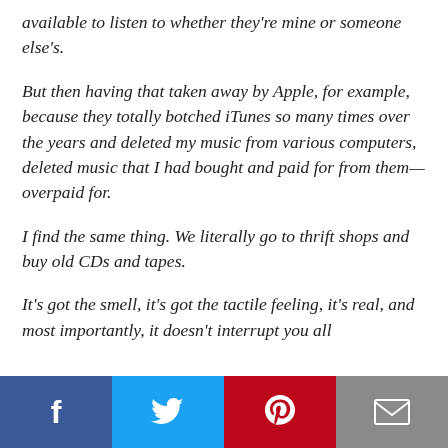available to listen to whether they're mine or someone else's.
But then having that taken away by Apple, for example, because they totally botched iTunes so many times over the years and deleted my music from various computers, deleted music that I had bought and paid for from them—overpaid for.
I find the same thing. We literally go to thrift shops and buy old CDs and tapes.
It's got the smell, it's got the tactile feeling, it's real, and most importantly, it doesn't interrupt you all
[Figure (infographic): Social sharing footer bar with four buttons: Facebook (dark blue), Twitter (light blue), Pinterest (red), Email (gray), each with respective icons.]